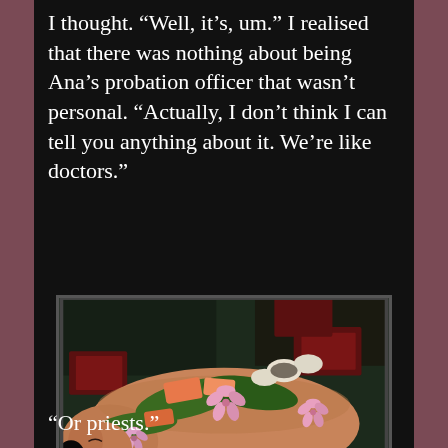I thought. “Well, it’s, um.” I realised that there was nothing about being Ana’s probation officer that wasn’t personal. “Actually, I don’t think I can tell you anything about it. We’re like doctors.”
[Figure (photo): A photograph of a person lying on their back with Japanese sushi and sashimi arranged on their body along with pink flowers and green leaves, as in nyotaimori (body sushi) tradition.]
“Or priests.”